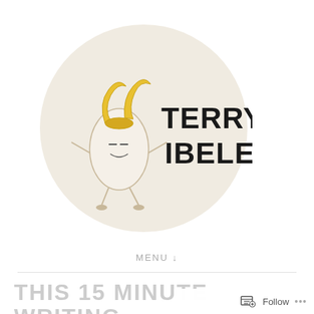[Figure (logo): Terry Ibele logo: circular beige background with a cartoon monster character wearing banana horns, bold text reading TERRY IBELE]
MENU ↓
THIS 15 MINUTE WRITING